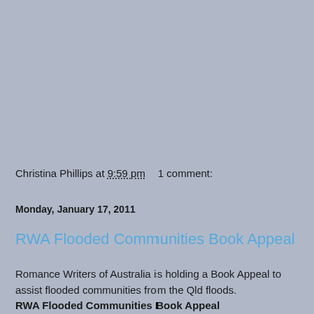Christina Phillips at 9:59 pm    1 comment:
Monday, January 17, 2011
RWA Flooded Communities Book Appeal
Romance Writers of Australia is holding a Book Appeal to assist flooded communities from the Qld floods. RWA Flooded Communities Book Appeal